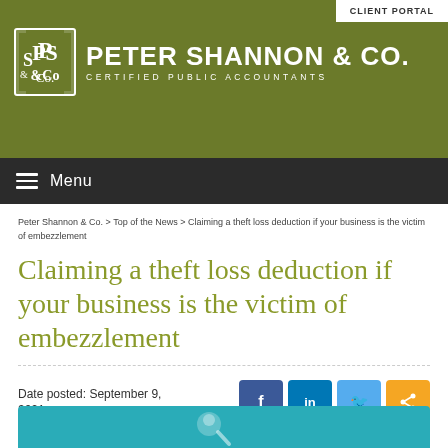CLIENT PORTAL
[Figure (logo): Peter Shannon & Co. Certified Public Accountants logo with PS&Co emblem in white on olive green background]
Menu
Peter Shannon & Co. > Top of the News > Claiming a theft loss deduction if your business is the victim of embezzlement
Claiming a theft loss deduction if your business is the victim of embezzlement
Date posted: September 9, 2021
[Figure (illustration): Teal/cyan colored banner image at bottom of page, partially visible]